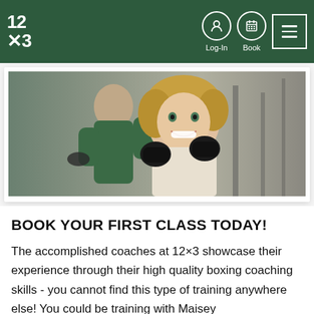12×3 navigation bar with Log-In, Book, and menu icons
[Figure (photo): Two people boxing in a gym. A smiling woman with wrapped hands in fighting stance is in the foreground; a man boxing in the background.]
BOOK YOUR FIRST CLASS TODAY!
The accomplished coaches at 12×3 showcase their experience through their high quality boxing coaching skills - you cannot find this type of training anywhere else! You could be training with Maisey